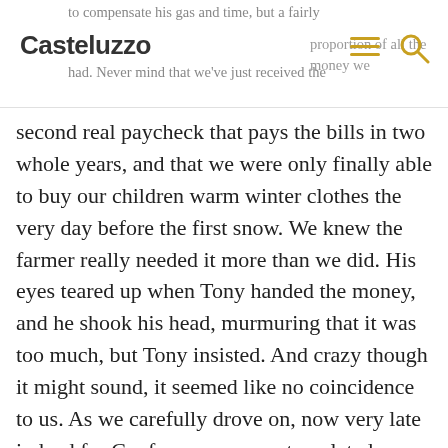to compensate his gas and time, but a fairly proportion of all the money we had. Never mind that we've just received the
Casteluzzo
second real paycheck that pays the bills in two whole years, and that we were only finally able to buy our children warm winter clothes the very day before the first snow. We knew the farmer really needed it more than we did. His eyes teared up when Tony handed the money, and he shook his head, murmuring that it was too much, but Tony insisted. And crazy though it might sound, it seemed like no coincidence to us. As we carefully drove on, now very late indeed for Conference, we contemplated together the divine artistic flourish that had turned our need for help into an opportunity to help someone else.
We still managed to catch an hour of the